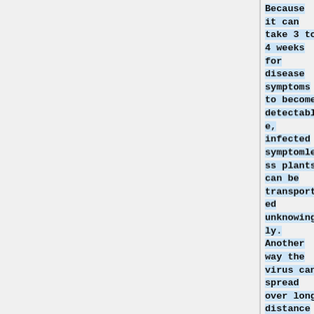Because it can take 3 to 4 weeks for disease symptoms to become detectable, infected symptomless plants can be transported unknowingly. Another way the virus can spread over long distance is through the whitefly vector, which can